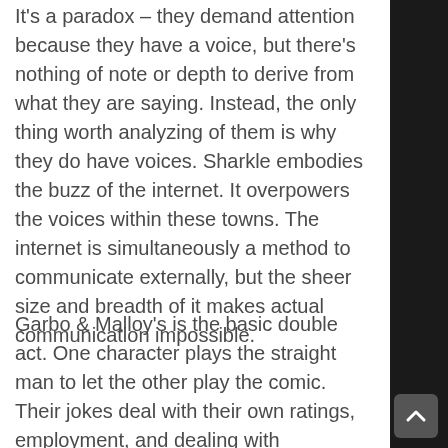but the voice is what makes them actually stand out. It's a paradox – they demand attention because they have a voice, but there's nothing of note or depth to derive from what they are saying. Instead, the only thing worth analyzing of them is why they do have voices. Sharkle embodies the buzz of the internet. It overpowers the voices within these towns. The internet is simultaneously a method to communicate externally, but the sheer size and breadth of it makes actual communication impossible.
Garbo & Malloy's is the basic double act. One character plays the straight man to let the other play the comic. Their jokes deal with their own ratings, employment, and dealing with depression and self-image. It's fairly basic stuff in the realm of comedy. It is the program that Mae is greeted by when entering the train station upon returning to Possum...